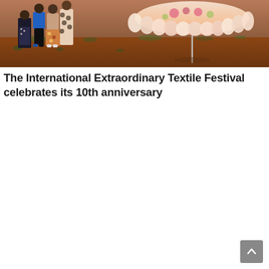[Figure (photo): Outdoor photograph showing several people standing on red dirt ground near dusk or early evening. People are wearing patterned and colorful clothing. A large decorative umbrella or parasol with ruffled edges is visible on the right side of the image. Sparse vegetation in the background.]
The International Extraordinary Textile Festival celebrates its 10th anniversary